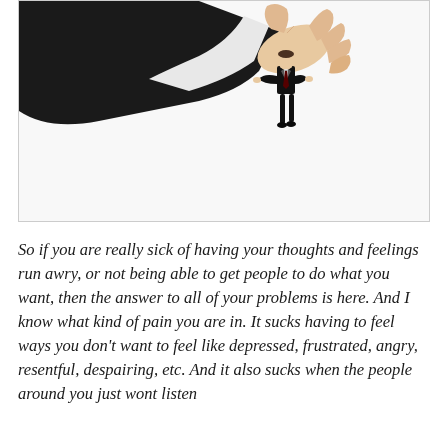[Figure (photo): A large hand (in a black suit sleeve) pinching a tiny businessman in a black suit between its fingers, against a white background.]
So if you are really sick of having your thoughts and feelings run awry, or not being able to get people to do what you want, then the answer to all of your problems is here. And I know what kind of pain you are in. It sucks having to feel ways you don't want to feel like depressed, frustrated, angry, resentful, despairing, etc. And it also sucks when the people around you just wont listen